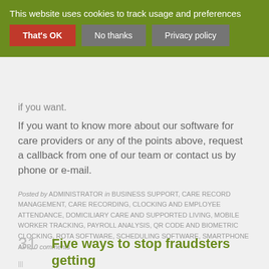This website uses cookies to track usage and preferences
if you want.
If you want to know more about our software for care providers or any of the points above, request a callback from one of our team or contact us by phone or e-mail.
Posted by ADMINISTRATOR in BUSINESS SUPPORT, CARE RECORD MANAGEMENT, CARE RECORDING, CLOCKING AND EMPLOYEE ATTENDANCE, DOMICILIARY CARE AND SUPPORTED LIVING, MOBILE WORKER TRACKING, PAYROLL ANALYSIS, QR CODE AND BIOMETRIC CLOCKING, ROTA SOFTWARE, SCHEDULING SOFTWARE, SMARTPHONE APP, 0 comments
31 Five ways to stop fraudsters getting